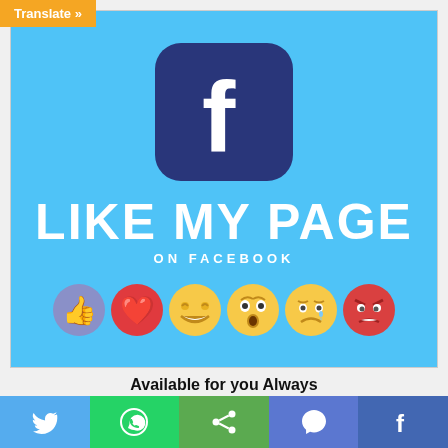Translate »
[Figure (infographic): Facebook 'Like My Page' promotional banner with blue background, Facebook logo icon, text 'LIKE MY PAGE ON FACEBOOK', and 6 reaction emojis (like, love, haha, wow, sad, angry)]
Available for you Always
[Figure (infographic): Bottom share bar with 5 colored sections: Twitter (blue with bird icon), WhatsApp (green with phone icon), Share (green with share icon), Messenger (purple with messenger icon), Facebook (dark blue with f icon)]